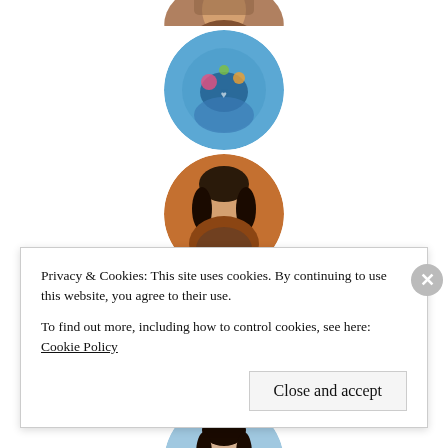[Figure (photo): A vertical column of six circular avatar/profile photos centered on the page. From top: partial view of a person (brown tones), a decorative/art image on blue background, a woman with dark hair on warm background, a woman with glasses on blue background, a woman with dark hair on light background, a young man on dark background.]
Privacy & Cookies: This site uses cookies. By continuing to use this website, you agree to their use.
To find out more, including how to control cookies, see here: Cookie Policy
Close and accept